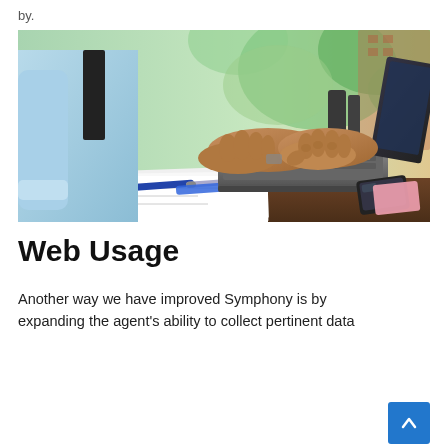by.
[Figure (photo): Person in light blue shirt and dark tie typing on a laptop outdoors, with papers, pens, and a smartphone on the desk beside the laptop.]
Web Usage
Another way we have improved Symphony is by expanding the agent's ability to collect pertinent data